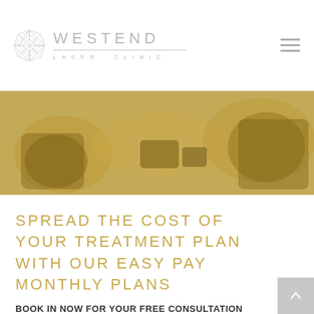[Figure (logo): Westend Laser Clinic logo with geometric snowflake/star icon and text]
[Figure (photo): Golden-toned photo of a medical laser treatment being performed on a patient]
SPREAD THE COST OF YOUR TREATMENT PLAN WITH OUR EASY PAY MONTHLY PLANS
BOOK IN NOW FOR YOUR FREE CONSULTATION AND FIND OUT WHAT WESTEND LASER CLINIC CAN